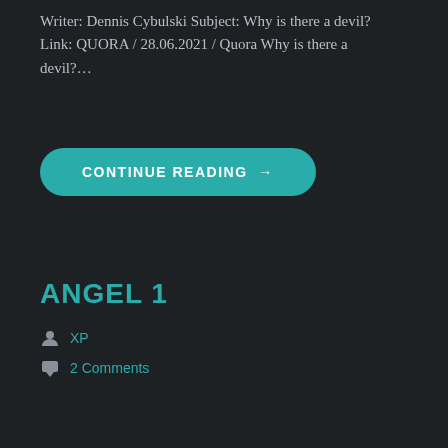Writer: Dennis Cybulski Subject: Why is there a devil? Link: QUORA / 28.06.2021 / Quora Why is there a devil?…
[Figure (other): Teal rounded-rectangle button with text CONTINUE READING →]
ANGEL 1
XP
2 Comments